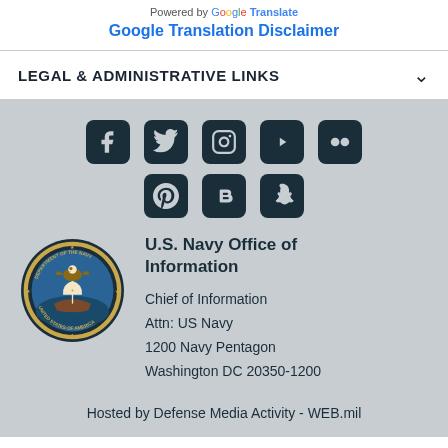Powered by Google Translate
Google Translation Disclaimer
LEGAL & ADMINISTRATIVE LINKS
[Figure (other): Social media icons: Facebook, Twitter, Instagram, YouTube, Flickr, Pinterest, Blogger, Snapchat]
[Figure (logo): U.S. Department of the Navy official seal]
U.S. Navy Office of Information
Chief of Information
Attn: US Navy
1200 Navy Pentagon
Washington DC 20350-1200
Hosted by Defense Media Activity - WEB.mil